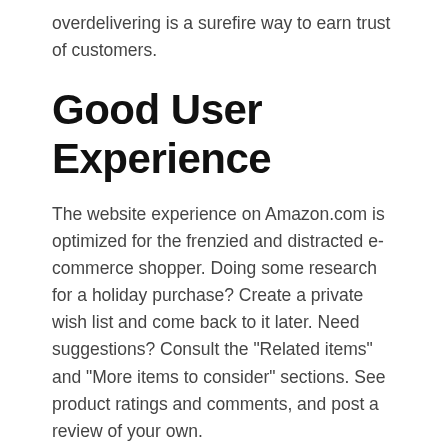overdelivering is a surefire way to earn trust of customers.
Good User Experience
The website experience on Amazon.com is optimized for the frenzied and distracted e-commerce shopper. Doing some research for a holiday purchase? Create a private wish list and come back to it later. Need suggestions? Consult the "Related items" and "More items to consider" sections. See product ratings and comments, and post a review of your own.
While these features might sound basic for an e-commerce website, few retailers boast this near-seamless shopping experience across so many product categories. When it comes to product offerings, Walmart or Costco might come close. But the user